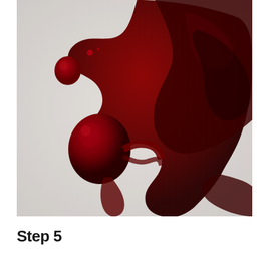[Figure (photo): Close-up photograph of a dark red blood spatter/pool on a light grey concrete or textured surface. The blood forms an irregular puddle shape with tendrils spreading outward, a large rounded droplet on the left side, and two smaller satellite droplets in the upper left area. The image is high contrast with the deep crimson blood against the pale grey background.]
Step 5